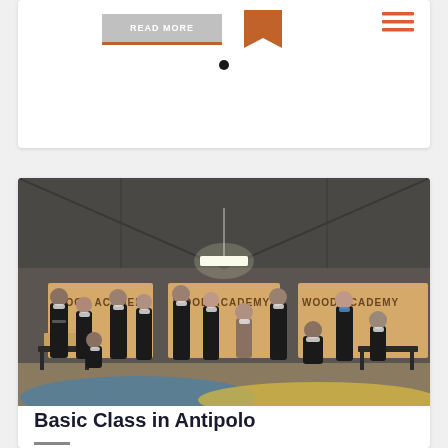[Figure (screenshot): READ MORE button with orange underline, an orange arrow/bookmark icon, and a dark filled circle dot indicator — top portion of a website card/carousel]
[Figure (photo): Group photo of approximately 12 people wearing black aprons and face masks, posing inside a large warehouse/workshop space with 'WOOD ACADEMY' banners/boards visible in the background. Some people are holding wooden box projects. The floor has blue and yellow painted sections.]
Basic Class in Antipolo